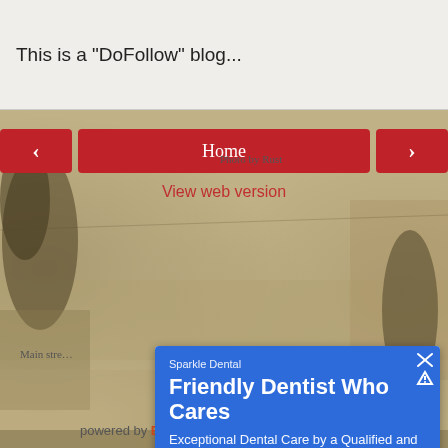This is a "DoFollow" blog...
[Figure (screenshot): Sepia-toned vintage photograph of a main street with trees and buildings, used as page background]
< (left arrow navigation button)
Home (navigation link)
> (right arrow navigation button)
View web version
Sparkle Dental
Friendly Dentist Who Cares
Exceptional Dental Care by a Qualified and Experienced Dentist. Call for Information!
[Figure (map): Google Maps satellite/street view map showing a location with a red pin marker]
Directions
Call
powered by Blogger